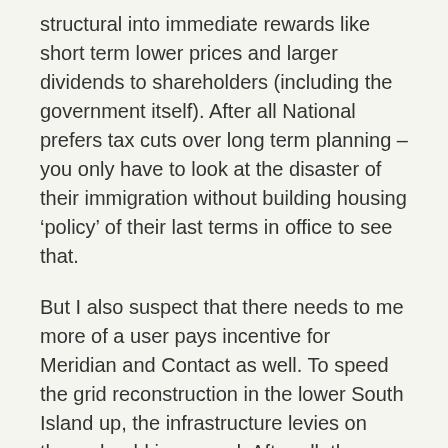structural into immediate rewards like short term lower prices and larger dividends to shareholders (including the government itself). After all National prefers tax cuts over long term planning – you only have to look at the disaster of their immigration without building housing 'policy' of their last terms in office to see that.
But I also suspect that there needs to me more of a user pays incentive for Meridian and Contact as well. To speed the grid reconstruction in the lower South Island up, the infrastructure levies on them should increased. After all, the reason for putting the infrastructure into the lower South Island si to provide some choices when inevitable the government or Rio Tinto decides to give up on playing chicken. The shareholders of Meridian and Contact should carry the can for that.
In the meantime, I think that I need to send a consumer